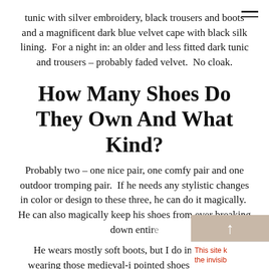tunic with silver embroidery, black trousers and boots and a magnificent dark blue velvet cape with black silk lining.  For a night in: an older and less fitted dark tunic and trousers – probably faded velvet.  No cloak.
How Many Shoes Do They Own And What Kind?
Probably two – one nice pair, one comfy pair and one outdoor tromping pair.  If he needs any stylistic changes in color or design to these three, he can do it magically.  He can also magically keep his shoes from ever breaking down entire…
He wears mostly soft boots, but I do imagine him wearing those medieval-i… pointed shoes as well.  😐